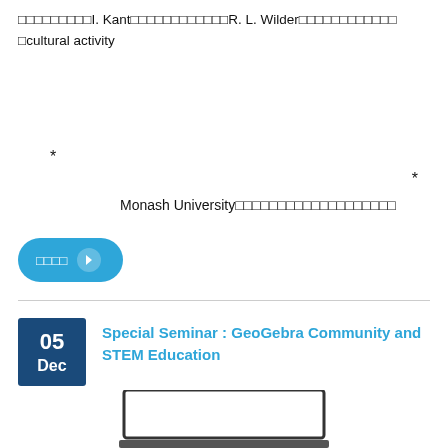□□□□□□□□□I. Kant□□□□□□□□□□□□R. L. Wilder□□□□□□□□□□□□□cultural activity
*
*
Monash University□□□□□□□□□□□□□□□□□□□
□□□□ →
Special Seminar : GeoGebra Community and STEM Education
[Figure (screenshot): Partial view of a laptop or screen at the bottom of the page]